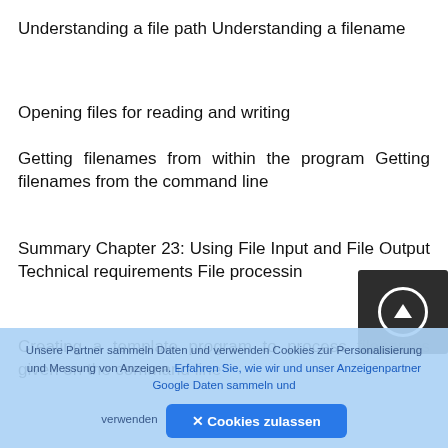Understanding a file path Understanding a filename
Opening files for reading and writing
Getting filenames from within the program Getting filenames from the command line
Summary Chapter 23: Using File Input and File Output Technical requirements File processing
Creating a template program to process filenames given on the command line
Unsere Partner sammeln Daten und verwenden Cookies zur Personalisierung und Messung von Anzeigen. Erfahren Sie, wie wir und unser Anzeigenpartner Google Daten sammeln und verwenden